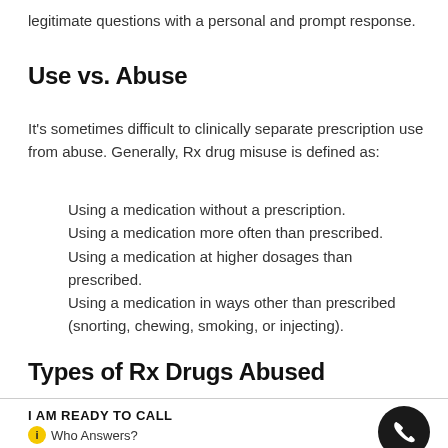legitimate questions with a personal and prompt response.
Use vs. Abuse
It's sometimes difficult to clinically separate prescription use from abuse. Generally, Rx drug misuse is defined as:
Using a medication without a prescription.
Using a medication more often than prescribed.
Using a medication at higher dosages than prescribed.
Using a medication in ways other than prescribed (snorting, chewing, smoking, or injecting).
Types of Rx Drugs Abused
I AM READY TO CALL
i Who Answers?